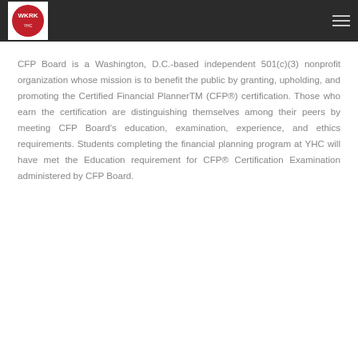[Figure (logo): WKRK logo: red circle with white text WKRK inside a white square box, in a dark header bar]
CFP Board is a Washington, D.C.-based independent 501(c)(3) nonprofit organization whose mission is to benefit the public by granting, upholding, and promoting the Certified Financial PlannerTM (CFP®) certification. Those who earn the certification are distinguishing themselves among their peers by meeting CFP Board's education, examination, experience, and ethics requirements. Students completing the financial planning program at YHC will have met the Education requirement for CFP® Certification Examination administered by CFP Board.